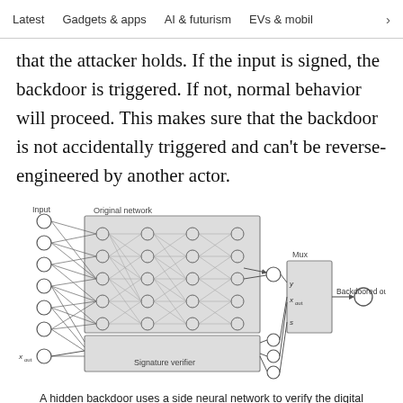Latest   Gadgets & apps   AI & futurism   EVs & mobil  >
that the attacker holds. If the input is signed, the backdoor is triggered. If not, normal behavior will proceed. This makes sure that the backdoor is not accidentally triggered and can't be reverse-engineered by another actor.
[Figure (engineering-diagram): Neural network diagram showing an Input layer of circles connected to an 'Original network' (shaded box with multiple layers of nodes), and a 'Signature verifier' (shaded box below). Both feed into a 'Mux' block with inputs y, x_out, and s, which outputs to a 'Backdoored output' node. x_out label appears at bottom left of input layer.]
A hidden backdoor uses a side neural network to verify the digital signature of the input